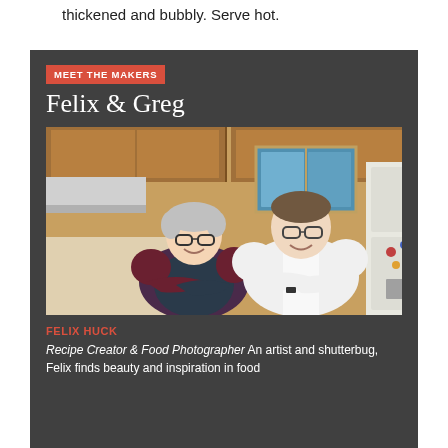thickened and bubbly. Serve hot.
MEET THE MAKERS
Felix & Greg
[Figure (photo): Two men standing in a kitchen with arms crossed. The man on the left has white/gray hair, glasses, and wears a dark apron over a maroon sweater. The man on the right has glasses and wears a white chef's coat. They are both smiling.]
FELIX HUCK
Recipe Creator & Food Photographer An artist and shutterbug, Felix finds beauty and inspiration in food